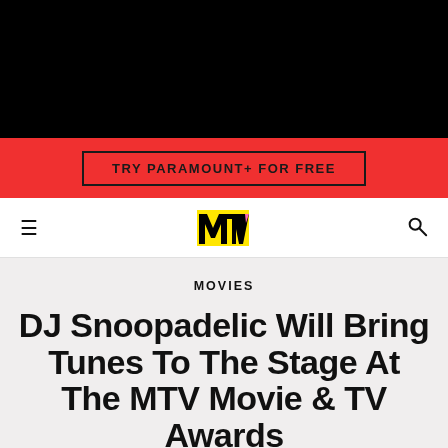[Figure (screenshot): Black header bar at top of MTV website]
TRY PARAMOUNT+ FOR FREE
MTV logo navigation bar with hamburger menu and search icon
MOVIES
DJ Snoopadelic Will Bring Tunes To The Stage At The MTV Movie & TV Awards
Plus, what was the year's Best Musical Moment?